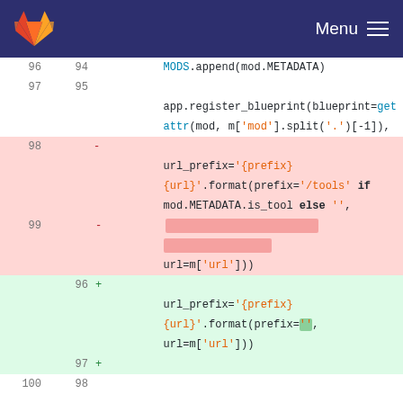GitLab — Menu
[Figure (screenshot): Code diff view showing Python blueprint registration code with deleted lines (98-99) in red and added lines (96-97) in green. Lines 96-102 shown for context.]